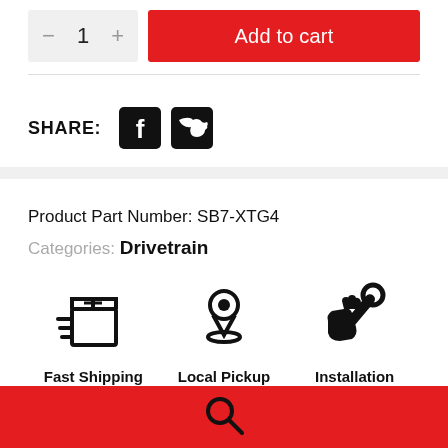- 1 + | Add to cart
SHARE:
[Figure (illustration): Facebook and Twitter share icons]
Product Part Number: SB7-XTG4
Categories: Drivetrain
[Figure (illustration): Fast shipping box icon]
Fast Shipping
[Figure (illustration): Local pickup map pin icon]
Local Pickup Available
[Figure (illustration): Installation services wrench/hand icon]
Installation Services Offered
[Figure (illustration): Search magnifying glass icon in red footer bar]